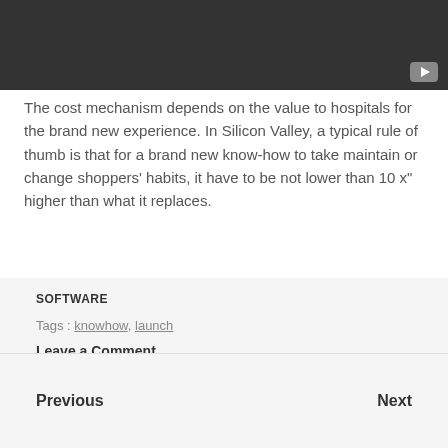[Figure (screenshot): Dark gray video player thumbnail with a YouTube-style play button in the bottom-right corner]
The cost mechanism depends on the value to hospitals for the brand new experience. In Silicon Valley, a typical rule of thumb is that for a brand new know-how to take maintain or change shoppers' habits, it have to be not lower than 10 x" higher than what it replaces.
SOFTWARE
Tags : knowhow, launch
Leave a Comment
Previous    Next